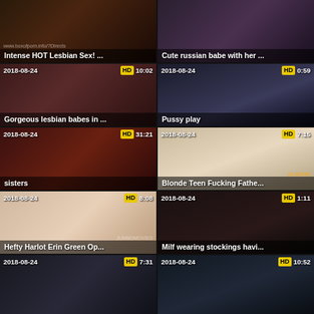[Figure (screenshot): Video thumbnail grid of adult content videos with titles, dates (2018-08-24), HD badges, and durations]
Intense HOT Lesbian Sex! ...
Cute russian babe with her ...
Gorgeous lesbian babes in ...
Pussy play
sisters
Blonde Teen Fucking Fathe...
Hefty Harlot Erin Green Op...
Milf wearing stockings havi...